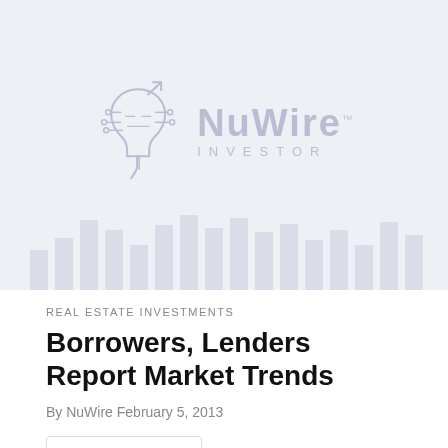[Figure (logo): NuWire Investor logo with circuit-brain icon on a light blue-grey background with faint bar chart watermark]
REAL ESTATE INVESTMENTS
Borrowers, Lenders Report Market Trends
By NuWire February 5, 2013
0   869